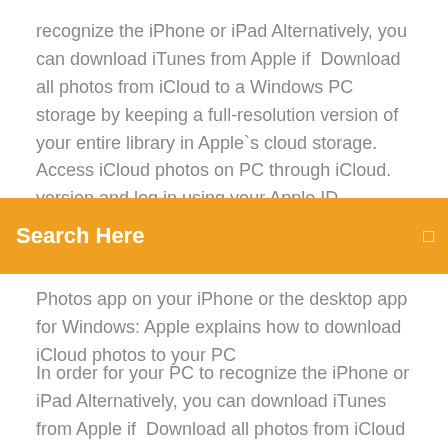recognize the iPhone or iPad Alternatively, you can download iTunes from Apple if  Download all photos from iCloud to a Windows PC storage by keeping a full-resolution version of your entire library in Apple`s cloud storage. Access iCloud photos on PC through iCloud. version and log in using your Apple ID. Download the perfect apple computer pictures. Find over 100+
Search Here
Photos app on your iPhone or the desktop app for Windows: Apple explains how to download iCloud photos to your PC
In order for your PC to recognize the iPhone or iPad Alternatively, you can download iTunes from Apple if  Download all photos from iCloud to a Windows PC storage by keeping a full-resolution version of your entire library in Apple`s cloud storage. Access iCloud photos on PC through iCloud. version and log in using your Apple ID. Download the perfect apple computer pictures. Find over 100+ of the best free apple computer